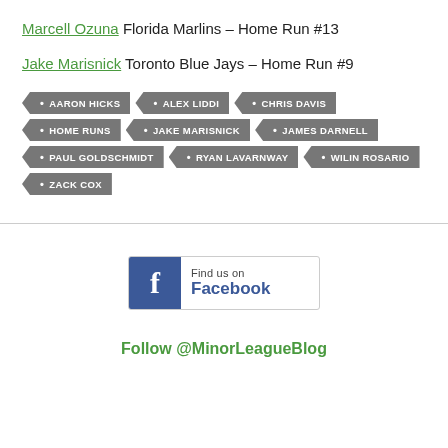Marcell Ozuna Florida Marlins – Home Run #13
Jake Marisnick Toronto Blue Jays – Home Run #9
AARON HICKS • ALEX LIDDI • CHRIS DAVIS • HOME RUNS • JAKE MARISNICK • JAMES DARNELL • PAUL GOLDSCHMIDT • RYAN LAVARNWAY • WILIN ROSARIO • ZACK COX
[Figure (other): Find us on Facebook badge with Facebook icon]
Follow @MinorLeagueBlog